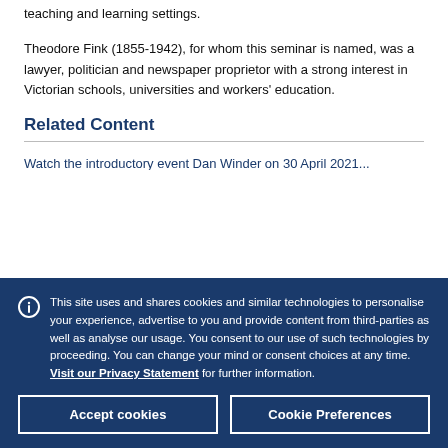teaching and learning settings.
Theodore Fink (1855-1942), for whom this seminar is named, was a lawyer, politician and newspaper proprietor with a strong interest in Victorian schools, universities and workers' education.
Related Content
Watch the introductory event Dan Winder on 30 April 2021
This site uses and shares cookies and similar technologies to personalise your experience, advertise to you and provide content from third-parties as well as analyse our usage. You consent to our use of such technologies by proceeding. You can change your mind or consent choices at any time. Visit our Privacy Statement for further information.
Accept cookies
Cookie Preferences